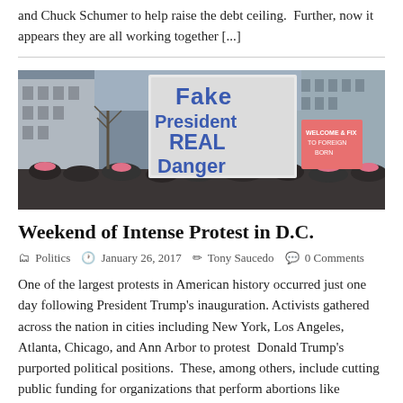and Chuck Schumer to help raise the debt ceiling.  Further, now it appears they are all working together [...]
[Figure (photo): Protest crowd scene with a large hand-written sign reading 'Fake President REAL Danger' and another sign in background reading 'WELCOME & FIX TO FOREIGN BORN']
Weekend of Intense Protest in D.C.
Politics  January 26, 2017  Tony Saucedo  0 Comments
One of the largest protests in American history occurred just one day following President Trump's inauguration. Activists gathered across the nation in cities including New York, Los Angeles, Atlanta, Chicago, and Ann Arbor to protest  Donald Trump's purported political positions.  These, among others, include cutting public funding for organizations that perform abortions like